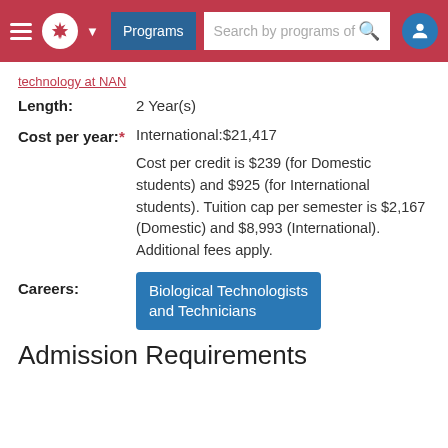Programs | Search by programs of
technology at NAN
Length: 2 Year(s)
Cost per year:* International:$21,417
Cost per credit is $239 (for Domestic students) and $925 (for International students). Tuition cap per semester is $2,167 (Domestic) and $8,993 (International). Additional fees apply.
Careers: Biological Technologists and Technicians
Admission Requirements